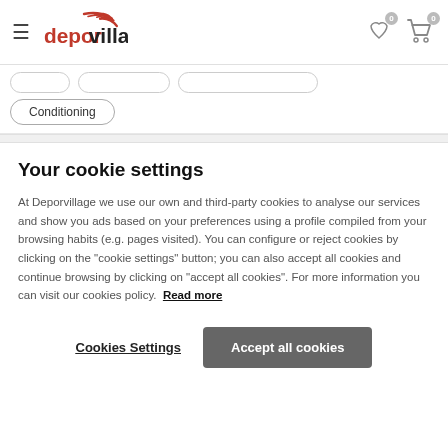deporvillage — navigation header with hamburger menu, logo, wishlist icon (0), cart icon (0)
Conditioning
Your cookie settings
At Deporvillage we use our own and third-party cookies to analyse our services and show you ads based on your preferences using a profile compiled from your browsing habits (e.g. pages visited). You can configure or reject cookies by clicking on the "cookie settings" button; you can also accept all cookies and continue browsing by clicking on "accept all cookies". For more information you can visit our cookies policy. Read more
Cookies Settings | Accept all cookies